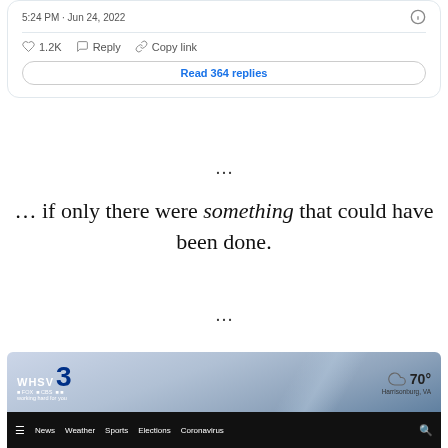5:24 PM · Jun 24, 2022
1.2K  Reply  Copy link
Read 364 replies
...
... if only there were something that could have been done.
...
[Figure (screenshot): WHSV 3 news website screenshot showing logo, weather 70°, Harrisonburg VA, and navigation bar with News, Weather, Sports, Elections, Coronavirus]